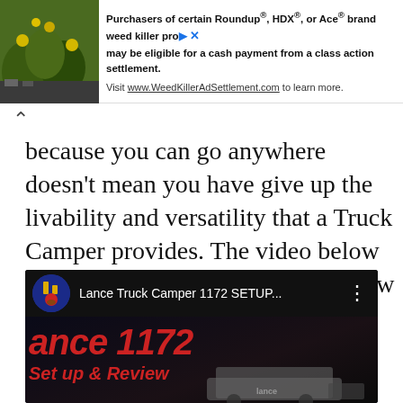[Figure (screenshot): Advertisement banner with plant photo on the left and text about Roundup/HDX/Ace weed killer class action settlement, with visit www.WeedKillerAdSettlement.com to learn more.]
because you can go anywhere doesn't mean you have give up the livability and versatility that a Truck Camper provides. The video below will show you how versatile the new generation of Truck Campers are.
[Figure (screenshot): YouTube video thumbnail for Lance Truck Camper 1172 SETUP... showing the lance 1172 Set up & Review title card with a truck camper image.]